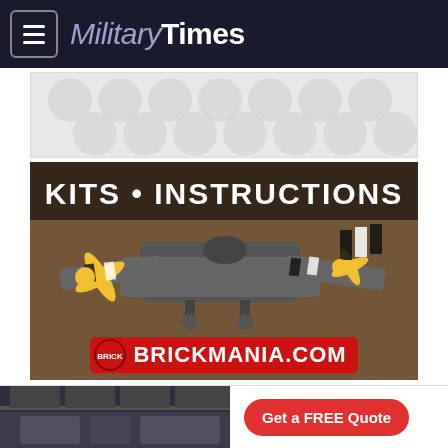MilitaryTimes
[Figure (illustration): Advertisement banner with light gray circular/oval dot pattern on white background]
[Figure (photo): Advertisement for Brickmania.com showing LEGO-style military airplane model with yellow and black propellers on tan surface. White stencil text reads: KITS • INSTRUCTIONS. Red banner at bottom reads: BRICKMANIA.COM with circular logo.]
COVID forced many people to hunker down in their homes with
[Figure (screenshot): Bottom advertisement showing a kitchen interior photo on the left and a red pill-shaped button reading 'Get a FREE Quote' on the right.]